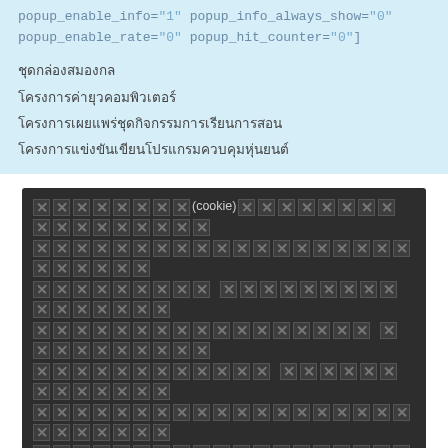popup_enable_info="1" popup_info_always_show="0" popup_enable_rate="0" popup_hit_counter="0"]
ชุดกล่องสมองกล
โครงการค่ายุวคอมพิวเตอร์
โครงการเผยแพร่ชุดกิจกรรมการเรียนการสอน
โครงการแข่งขันเขียนโปรแกรมควบคุมหุ่นยนต์
[redacted cookie policy text block]
[decline button] [accept button]